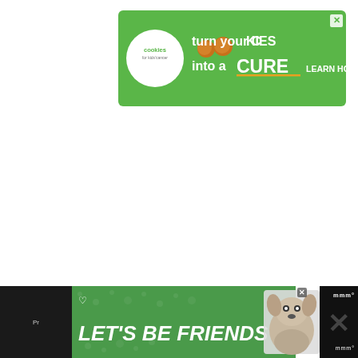[Figure (illustration): Top banner advertisement for Cookies for Kids' Cancer: green background with white circle logo on left reading 'cookies for kids cancer', and text 'turn your COOKIES into a CURE LEARN HOW' in white on green. Has a close/X button top right.]
[Figure (illustration): Bottom banner advertisement: dark left section, green center with paw print pattern and white italic bold text 'LET'S BE FRIENDS' with heart icon, dog photo on right side, black right section with large X and 'MMO' logo text.]